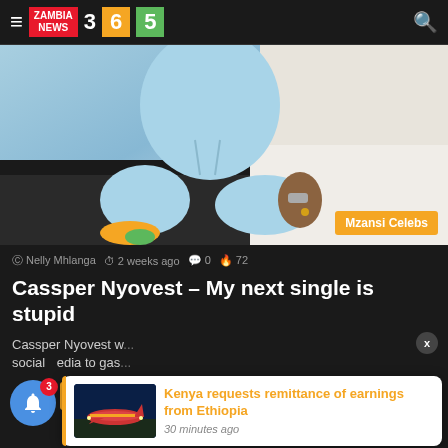Zambia News 365
[Figure (photo): Person sitting wearing light blue hoodie and sweatpants with colorful sneakers, with Mzansi Celebs badge]
Nelly Mhlanga  2 weeks ago  0  72
Cassper Nyovest – My next single is stupid
Cassper Nyovest w... social media to gas...
More »
[Figure (photo): Airplane on tarmac at night thumbnail for Kenya news article]
Kenya requests remittance of earnings from Ethiopia
30 minutes ago